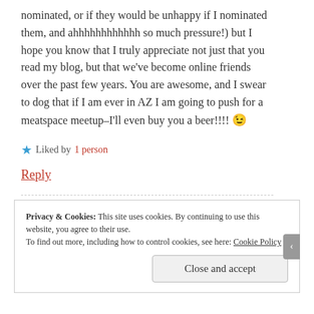nominated, or if they would be unhappy if I nominated them, and ahhhhhhhhhhhh so much pressure!) but I hope you know that I truly appreciate not just that you read my blog, but that we've become online friends over the past few years. You are awesome, and I swear to dog that if I am ever in AZ I am going to push for a meatspace meetup–I'll even buy you a beer!!!! 😉
★ Liked by 1 person
Reply
Privacy & Cookies: This site uses cookies. By continuing to use this website, you agree to their use. To find out more, including how to control cookies, see here: Cookie Policy
Close and accept